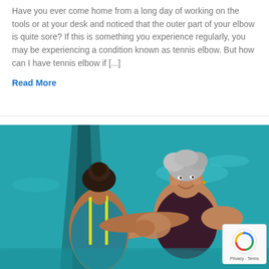Have you ever come home from a long day of working on the tools or at your desk and noticed that the outer part of your elbow is quite sore? If this is something you experience regularly, you may be experiencing a condition known as tennis elbow. But how can I have tennis elbow if [...]
Read More
[Figure (photo): Two women in a swimming pool — a younger woman with dark hair in a bun wearing a teal/yellow swimsuit, facing away from camera, and an older smiling woman with short grey hair wearing a dark swimsuit, facing the camera. They appear to be doing aquatic therapy or exercise together.]